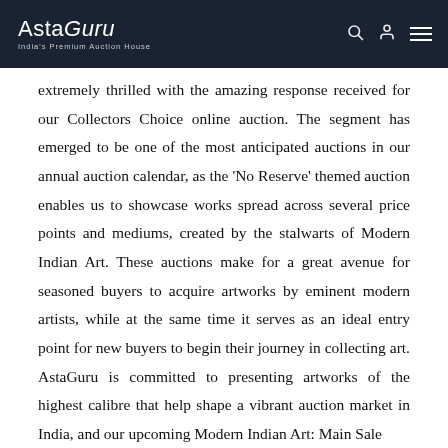AstaGuru — India's Premium Auction House
extremely thrilled with the amazing response received for our Collectors Choice online auction. The segment has emerged to be one of the most anticipated auctions in our annual auction calendar, as the 'No Reserve' themed auction enables us to showcase works spread across several price points and mediums, created by the stalwarts of Modern Indian Art. These auctions make for a great avenue for seasoned buyers to acquire artworks by eminent modern artists, while at the same time it serves as an ideal entry point for new buyers to begin their journey in collecting art. AstaGuru is committed to presenting artworks of the highest calibre that help shape a vibrant auction market in India, and our upcoming Modern Indian Art: Main Sale